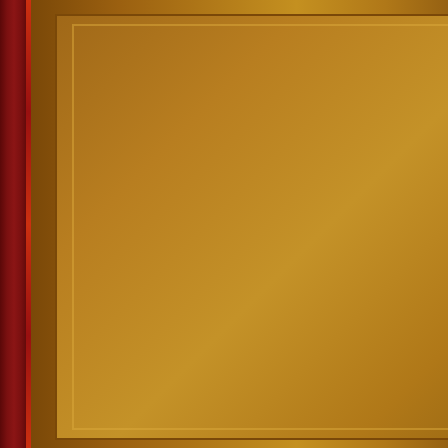into “Rotten Zurich Cafe” aural progression than as it recommend to anyone that parts. All in all, Kudos to C
Doctor Q is the Media Edi music and founder of the A
Category Archives | Tags:
« * Repost from “Trial B